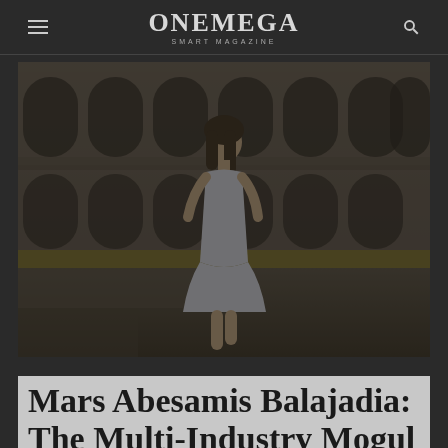ONEMEGA SMART MAGAZINE
[Figure (photo): Woman in white dress standing in front of a large historic stone building with arched architecture, resembling a colosseum or amphitheater. Dark overlay on image.]
Mars Abesamis Balajadia: The Multi-Industry Mogul With Big